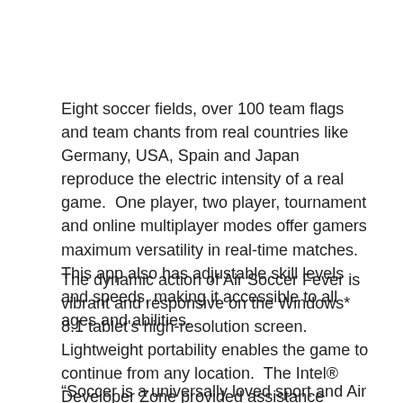Eight soccer fields, over 100 team flags and team chants from real countries like Germany, USA, Spain and Japan reproduce the electric intensity of a real game.  One player, two player, tournament and online multiplayer modes offer gamers maximum versatility in real-time matches.  This app also has adjustable skill levels and speeds, making it accessible to all ages and abilities.
The dynamic action of Air Soccer Fever is vibrant and responsive on the Windows* 8.1 tablet's high-resolution screen.  Lightweight portability enables the game to continue from any location.  The Intel® Developer Zone provided assistance during optimization so the app runs flawlessly.
“Soccer is a universally loved sport and Air Soccer